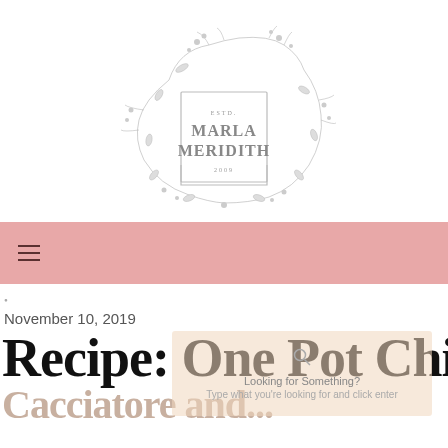[Figure (logo): Marla Meridith floral logo with text ESTD. MARLA MERIDITH 2009 inside a decorative border surrounded by botanical illustrations]
navigation bar with hamburger menu icon
•
November 10, 2019
Recipe: One Pot Chicken
Cacciatore and...